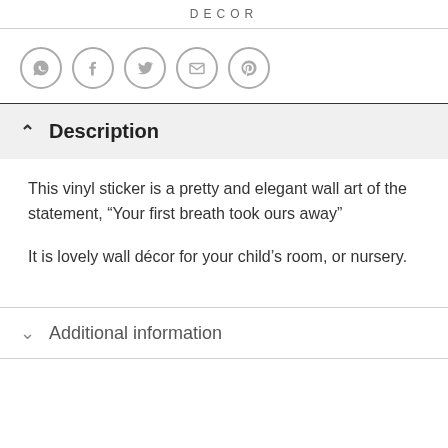DECOR
[Figure (infographic): Row of 5 social sharing icon circles: WhatsApp, Facebook, Twitter, Email, Pinterest]
Description
This vinyl sticker is a pretty and elegant wall art of the statement, “Your first breath took ours away”
It is lovely wall décor for your child’s room, or nursery.
Additional information